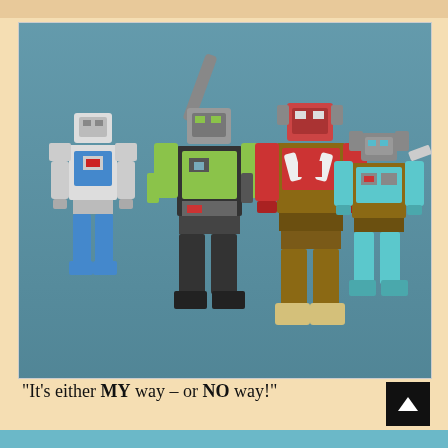[Figure (photo): Four Transformers action figures standing in a row against a blue background. From left to right: a smaller white and blue robot, a tall green and dark robot with a tank turret/cannon on its back, a large brown and red robot, and a smaller teal and brown robot.]
“It’s either MY way – or NO way!”